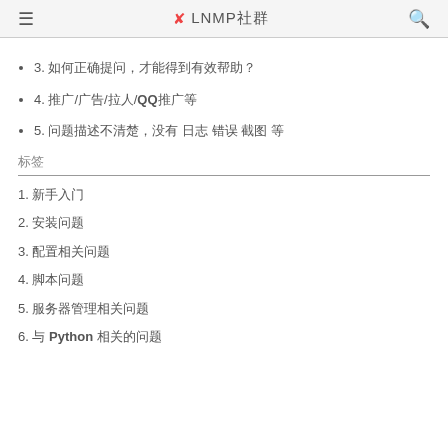≡  ✳ LNMP社群  🔍
3. 如何正确提问，才能得到有效帮助？
4. 推广/广告/拉人/QQ推广等
5. 问题描述不清楚，没有 日志 错误 截图 等
标签
1. 新手入门
2. 安装问题
3. 配置相关问题
4. 脚本问题
5. 服务器管理相关问题
6. 与 Python 相关的问题